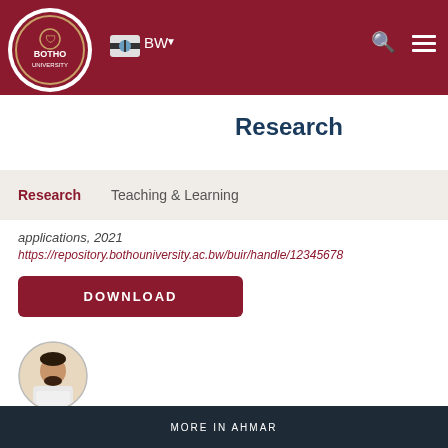[Figure (logo): Botho University logo - circular emblem on dark red header bar with BW flag, search and menu icons]
Research
Research   Teaching & Learning
applications, 2021
https://repository.bothouniversity.ac.bw/buir/handle/12345678
DOWNLOAD
[Figure (photo): Circular profile photo of a man in a white shirt sitting at a desk]
MORE IN AHMAR